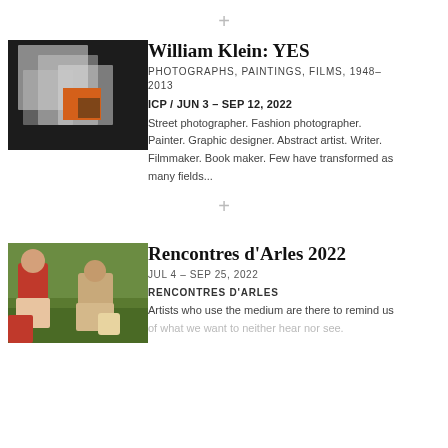[Figure (other): Plus/cross divider icon in gray]
[Figure (photo): William Klein abstract photograph with white translucent shapes and orange square on dark background]
William Klein: YES
PHOTOGRAPHS, PAINTINGS, FILMS, 1948–2013
ICP / JUN 3 – SEP 12, 2022
Street photographer. Fashion photographer. Painter. Graphic designer. Abstract artist. Writer. Filmmaker. Book maker. Few have transformed as many fields...
[Figure (other): Plus/cross divider icon in gray]
[Figure (photo): Rencontres d'Arles 2022 photo showing people on grass with red clothing]
Rencontres d'Arles 2022
JUL 4 – SEP 25, 2022
RENCONTRES D'ARLES
Artists who use the medium are there to remind us of what we want to neither hear nor see.